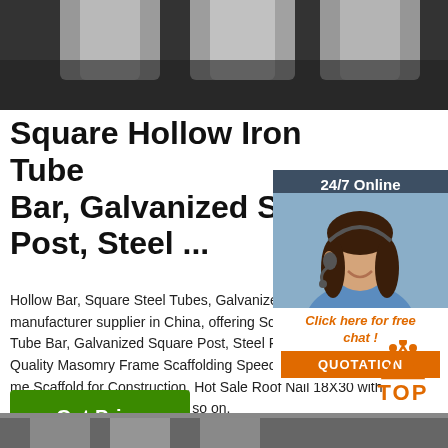[Figure (photo): Photo of shiny metallic square hollow iron tubes/bars arranged on a dark surface, viewed from above]
Square Hollow Iron Tube Bar, Galvanized Square Post, Steel ...
Hollow Bar, Square Steel Tubes, Galvanized Steel Tubes manufacturer supplier in China, offering Square Hollow Iron Tube Bar, Galvanized Square Post, Steel Pipes, Good Quality Masonry Frame Scaffolding Speed Lock Steel Frame Scaffold for Construction, Hot Sale Roof Nail 18X30 with Rubber Washer in Brazil and so on.
[Figure (infographic): 24/7 Online chat widget with agent photo, 'Click here for free chat!' label, and orange QUOTATION button]
[Figure (logo): Orange TOP logo with dots above the letters]
[Figure (photo): Partial photo at bottom of page showing metallic steel products]